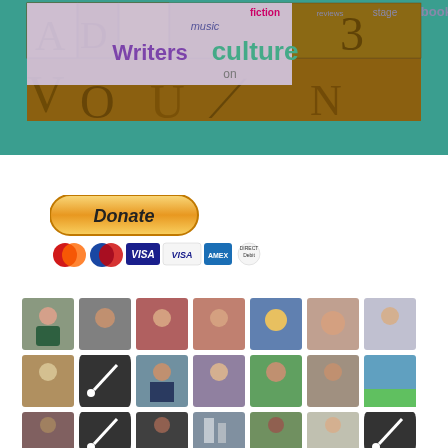[Figure (photo): Banner image with letterpress wooden type blocks in warm orange/brown tones, overlaid with a lavender word cloud containing words: fiction, reviews, stage, books, music, Writers, culture, on]
[Figure (infographic): Donate button with PayPal-style gradient rounded rectangle, below it a row of payment card icons: Mastercard, Maestro, VISA, VISA (electron), American Express, Direct Debit]
[Figure (photo): Grid of contributor/author avatar photos, approximately 14 visible thumbnails arranged in rows of 7, showing various people's portraits and some icon images]